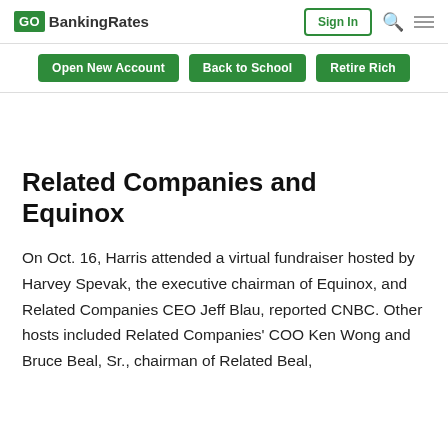GO BankingRates | Sign In
Open New Account  Back to School  Retire Rich
Related Companies and Equinox
On Oct. 16, Harris attended a virtual fundraiser hosted by Harvey Spevak, the executive chairman of Equinox, and Related Companies CEO Jeff Blau, reported CNBC. Other hosts included Related Companies' COO Ken Wong and Bruce Beal, Sr., chairman of Related Beal,